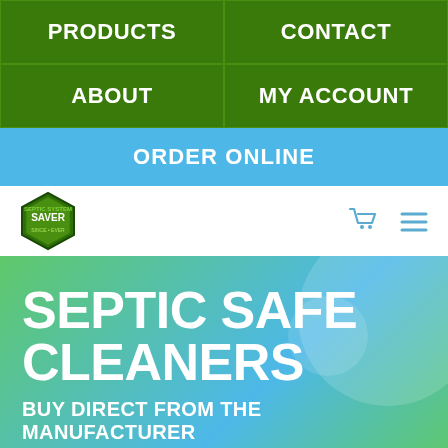[Figure (screenshot): Navigation menu with four cells in a 2x2 green grid: PRODUCTS, CONTACT, ABOUT, MY ACCOUNT]
ORDER ONLINE
[Figure (logo): Septic System Saver logo badge with shopping cart and hamburger menu icons]
SEPTIC SAFE CLEANERS
BUY DIRECT FROM THE MANUFACTURER